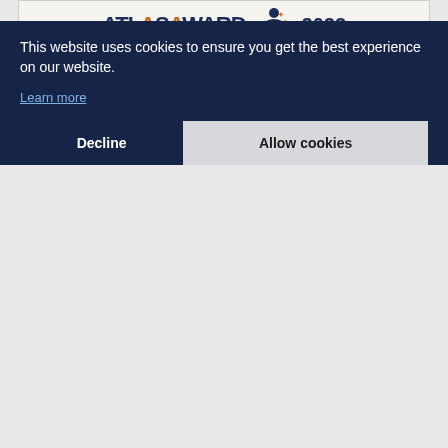[Figure (illustration): Atlas Award 2022 advertisement banner with superhero figure, logo text, and orange 'NOMINATE NOW YOUR BUSINESS HEROES!' bar]
ADVERTISEMENT
What do you find
This website uses cookies to ensure you get the best experience on our website.
Learn more
Decline
Allow cookies